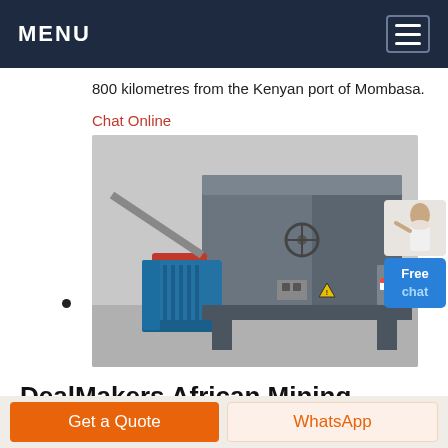MENU
800 kilometres from the Kenyan port of Mombasa.
Chat Online
[Figure (photo): Industrial mining machine with blue electric motor and large grey metal processing unit in a warehouse setting]
DealMakers African Mining Network
Get a Quote
WhatsApp